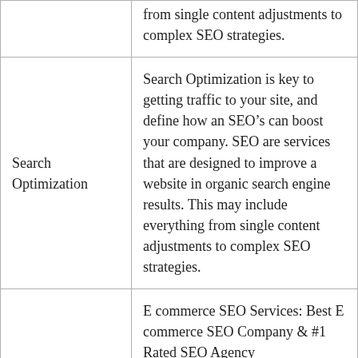|  | from single content adjustments to complex SEO strategies. |
| Search Optimization | Search Optimization is key to getting traffic to your site, and define how an SEO’s can boost your company. SEO are services that are designed to improve a website in organic search engine results. This may include everything from single content adjustments to complex SEO strategies. |
|  | E commerce SEO Services: Best E commerce SEO Company & #1 Rated SEO Agency |